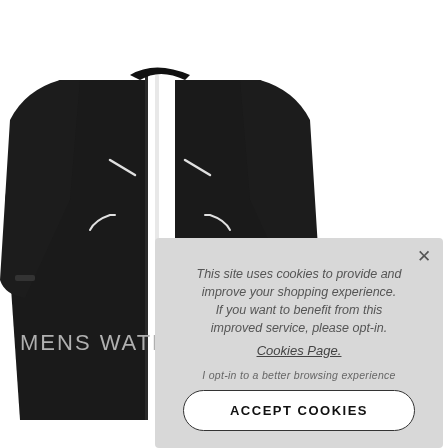[Figure (photo): Black men's waterproof jacket with white zipper trim details, shown from the front on a white background. The jacket has a full-length front zipper, side pockets with white trim, and small branding text on the left chest area.]
MENS WATER
This site uses cookies to provide and improve your shopping experience. If you want to benefit from this improved service, please opt-in. Cookies Page.
I opt-in to a better browsing experience
ACCEPT COOKIES